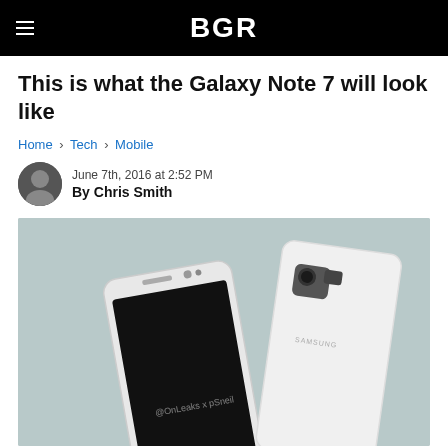BGR
This is what the Galaxy Note 7 will look like
Home › Tech › Mobile
June 7th, 2016 at 2:52 PM
By Chris Smith
[Figure (photo): Render of Samsung Galaxy Note 7 smartphone shown from front and back in white color, displayed on a light blue-gray surface. Front shows the curved-edge display with black screen. Back shows the dual-lens camera setup and Samsung branding. Watermark reads @OnLeaks x pSneil.]